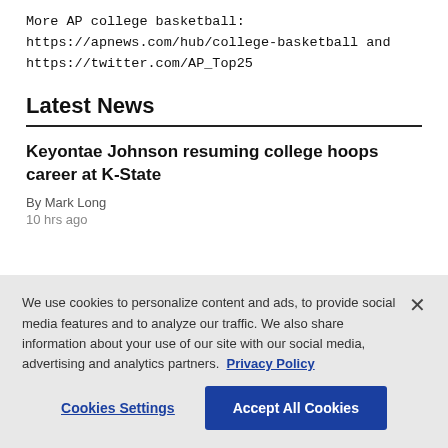More AP college basketball: https://apnews.com/hub/college-basketball and https://twitter.com/AP_Top25
Latest News
Keyontae Johnson resuming college hoops career at K-State
By Mark Long
10 hrs ago
We use cookies to personalize content and ads, to provide social media features and to analyze our traffic. We also share information about your use of our site with our social media, advertising and analytics partners. Privacy Policy
Cookies Settings
Accept All Cookies